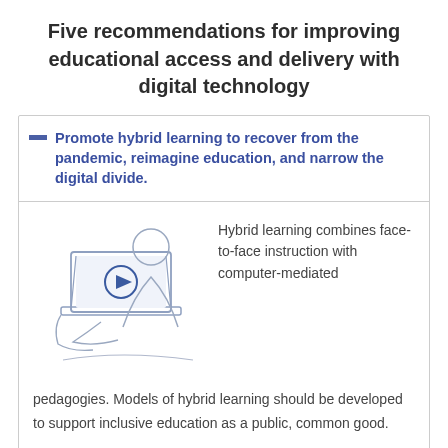Five recommendations for improving educational access and delivery with digital technology
Promote hybrid learning to recover from the pandemic, reimagine education, and narrow the digital divide.
[Figure (illustration): Line drawing of a person sitting in front of a laptop displaying a video play button, viewed from behind.]
Hybrid learning combines face-to-face instruction with computer-mediated pedagogies. Models of hybrid learning should be developed to support inclusive education as a public, common good.